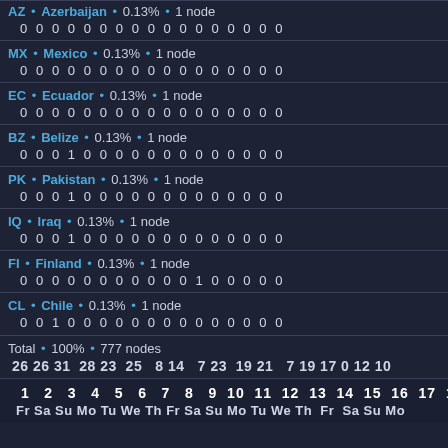AZ • Azerbaijan • 0.13% • 1 node
0 0 0 0 0 0 0 0 0 0 0 0 0 0 0 0 0
MX • Mexico • 0.13% • 1 node
0 0 0 0 0 0 0 0 0 0 0 0 0 0 0 0 0
EC • Ecuador • 0.13% • 1 node
0 0 0 0 0 0 0 0 0 0 0 0 0 0 0 0 0
BZ • Belize • 0.13% • 1 node
0 0 0 1 0 0 0 0 0 0 0 0 0 0 0 0 0
PK • Pakistan • 0.13% • 1 node
0 0 0 1 0 0 0 0 0 0 0 0 0 0 0 0 0
IQ • Iraq • 0.13% • 1 node
0 0 0 1 0 0 0 0 0 0 0 0 0 0 0 0 0
FI • Finland • 0.13% • 1 node
0 0 0 0 0 0 0 0 0 0 0 1 0 0 0 0 0
CL • Chile • 0.13% • 1 node
0 0 1 0 0 0 0 0 0 0 0 0 0 0 0 0 0
Total • 100% • 777 nodes
26 26 31 28 23 25 8 14 7 23 19 21 7 19 17 0 12 10
1 2 3 4 5 6 7 8 9 10 11 12 13 14 15 16 17 18
Fr Sa Su Mo Tu We Th Fr Sa Su Mo Tu We Th Fr Sa Su Mo